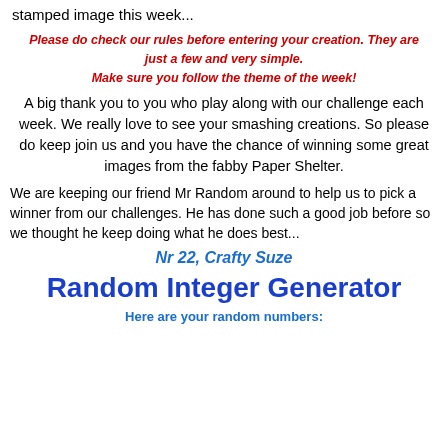stamped image this week...
Please do check our rules before entering your creation. They are just a few and very simple.
Make sure you follow the theme of the week!
A big thank you to you who play along with our challenge each week. We really love to see your smashing creations. So please do keep join us and you have the chance of winning some great images from the fabby Paper Shelter.
We are keeping our friend Mr Random around to help us to pick a winner from our challenges. He has done such a good job before so we thought he keep doing what he does best...
Nr 22, Crafty Suze
Random Integer Generator
Here are your random numbers: